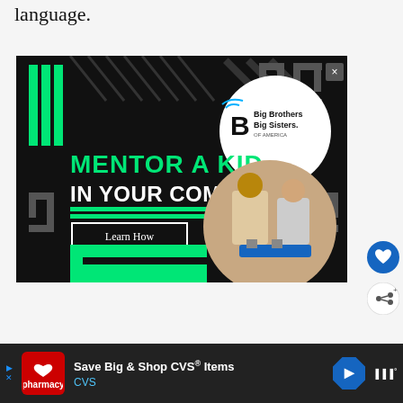language.
[Figure (photo): Big Brothers Big Sisters of America advertisement showing 'MENTOR A KID IN YOUR COMMUNITY.' with a photo of an adult man and a child working together on a robotics project, with a 'Learn How' button and the BBBS logo.]
[Figure (other): Heart/favorite button (blue circle with heart icon)]
[Figure (other): Share button (white circle with share icon)]
[Figure (other): CVS Pharmacy advertisement banner at bottom: 'Save Big & Shop CVS® Items' with CVS logo, navigation arrow icon, and WeatherWarn badge]